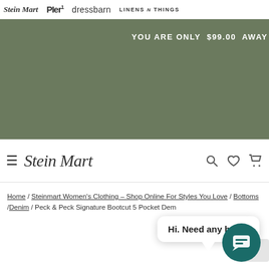Stein Mart | Pier 1 | dressbarn | LINENS n THINGS
[Figure (screenshot): Olive/sage green promotional banner with text: YOU ARE ONLY $99.00 AWAY]
YOU ARE ONLY  $99.00  AWAY
Stein Mart navigation bar with hamburger menu, logo, search, wishlist, and cart icons
Home / Steinmart Women's Clothing – Shop Online For Styles You Love / Bottoms / Denim / Peck & Peck Signature Bootcut 5 Pocket Denim
Hi. Need any help?